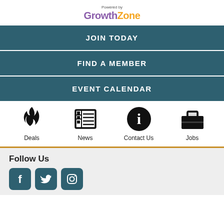[Figure (logo): GrowthZone logo with 'Powered by' text above. 'Growth' in purple, 'Zone' in orange.]
JOIN TODAY
FIND A MEMBER
EVENT CALENDAR
[Figure (infographic): Four icon links: Deals (flame icon), News (newspaper icon), Contact Us (info circle icon), Jobs (briefcase icon)]
[Figure (infographic): Follow Us section with Facebook, Twitter, and Instagram social media icon buttons in teal rounded squares]